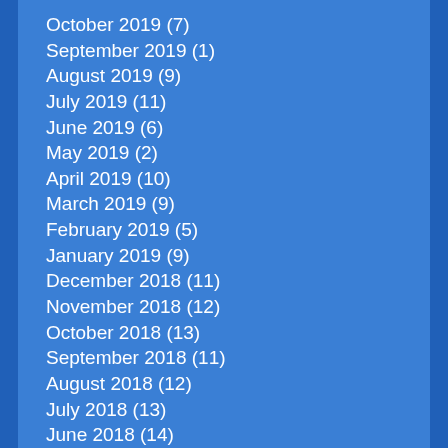October 2019 (7)
September 2019 (1)
August 2019 (9)
July 2019 (11)
June 2019 (6)
May 2019 (2)
April 2019 (10)
March 2019 (9)
February 2019 (5)
January 2019 (9)
December 2018 (11)
November 2018 (12)
October 2018 (13)
September 2018 (11)
August 2018 (12)
July 2018 (13)
June 2018 (14)
May 2018 (16)
April 2018 (14)
March 2018 (16)